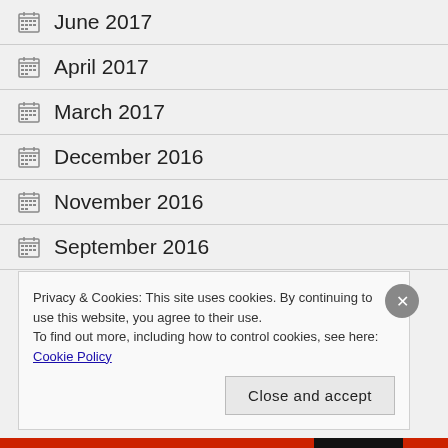June 2017
April 2017
March 2017
December 2016
November 2016
September 2016
Privacy & Cookies: This site uses cookies. By continuing to use this website, you agree to their use. To find out more, including how to control cookies, see here: Cookie Policy
Close and accept